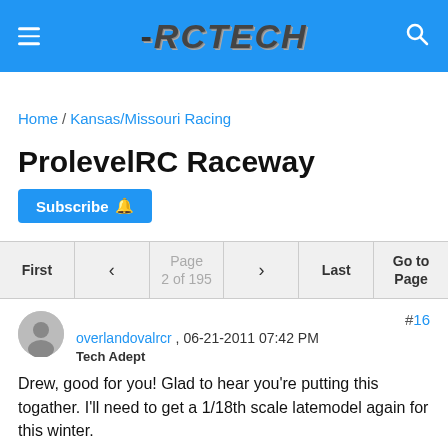RCTECH
Home / Kansas/Missouri Racing
ProlevelRC Raceway
Subscribe
| First | < | Page 2 of 195 | > | Last | Go to Page |
| --- | --- | --- | --- | --- | --- |
#16
overlandovalrcr , 06-21-2011 07:42 PM
Tech Adept
Drew, good for you! Glad to hear you're putting this togather. I'll need to get a 1/18th scale latemodel again for this winter.